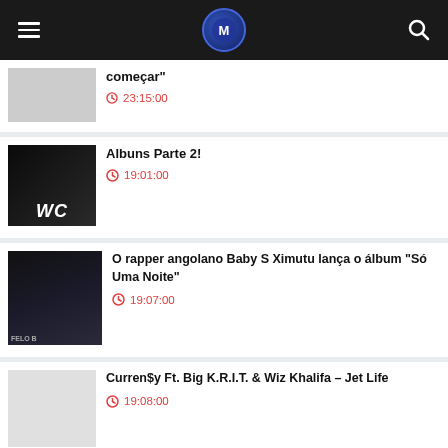Navigation header with hamburger menu, logo, and search icon
começar"
23:15:00
[Figure (photo): WC rap duo photo - two men, dark background with WC text]
Albuns Parte 2!
19:01:00
[Figure (photo): Rapper standing outdoors at night near power lines, FELO label visible]
O rapper angolano Baby S Ximutu lança o álbum "Só Uma Noite"
19:07:00
[Figure (photo): Blank/white thumbnail image]
Curren$y Ft. Big K.R.I.T. & Wiz Khalifa – Jet Life
19:08:00
[Figure (photo): Dark reddish album cover thumbnail - DINAMITE 2000]
DINAMITE 2000
20:27:00
[Figure (photo): Partial dark thumbnail at bottom of page]